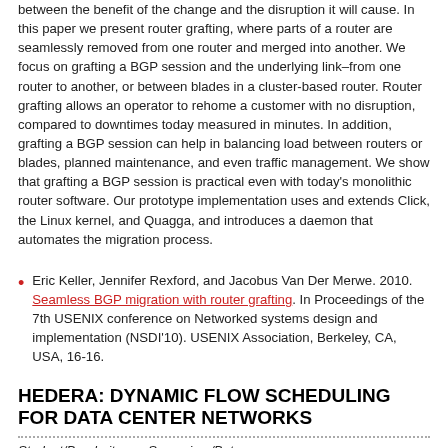between the benefit of the change and the disruption it will cause. In this paper we present router grafting, where parts of a router are seamlessly removed from one router and merged into another. We focus on grafting a BGP session and the underlying link–from one router to another, or between blades in a cluster-based router. Router grafting allows an operator to rehome a customer with no disruption, compared to downtimes today measured in minutes. In addition, grafting a BGP session can help in balancing load between routers or blades, planned maintenance, and even traffic management. We show that grafting a BGP session is practical even with today's monolithic router software. Our prototype implementation uses and extends Click, the Linux kernel, and Quagga, and introduces a daemon that automates the migration process.
Eric Keller, Jennifer Rexford, and Jacobus Van Der Merwe. 2010. Seamless BGP migration with router grafting. In Proceedings of the 7th USENIX conference on Networked systems design and implementation (NSDI'10). USENIX Association, Berkeley, CA, USA, 16-16.
HEDERA: DYNAMIC FLOW SCHEDULING FOR DATA CENTER NETWORKS
Student/Bearbeiter: –; Supervisor/Betreuer: –